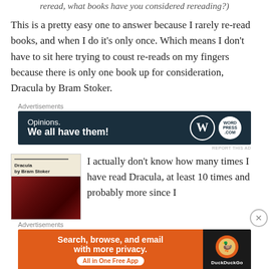reread, what books have you considered rereading?)
This is a pretty easy one to answer because I rarely re-read books, and when I do it's only once. Which means I don't have to sit here trying to coust re-reads on my fingers because there is only one book up for consideration, Dracula by Bram Stoker.
Advertisements
[Figure (other): WordPress advertisement banner: 'Opinions. We all have them!' with WordPress and WordPress.com logos on dark teal background]
REPORT THIS AD
[Figure (photo): Book cover of Dracula by Bram Stoker - cream top with title text and dark red/maroon bottom]
I actually don't know how many times I have read Dracula, at least 10 times and probably more since I
Advertisements
[Figure (other): DuckDuckGo advertisement banner: 'Search, browse, and email with more privacy. All in One Free App' with DuckDuckGo logo on orange and black background]
REPORT THIS AD